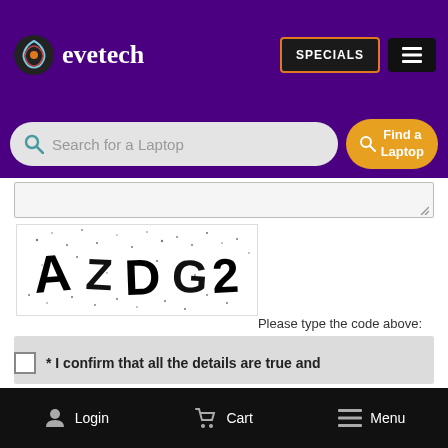[Figure (logo): Evetech logo with stylized phoenix icon and text 'evetech' in white on purple header background]
SPECIALS
[Figure (screenshot): Hamburger menu icon (three horizontal lines) on dark button]
Search for a Laptop
Find a Laptop
[Figure (other): CAPTCHA image showing distorted text 'AZDG2' with scattered dots on white background]
Please type the code above:
Letters are not case-sensitive.
* I confirm that all the details are true and
Login
Cart
Menu